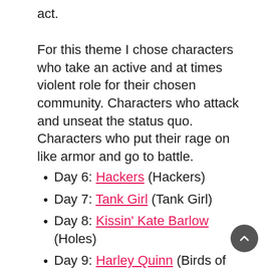act.
For this theme I chose characters who take an active and at times violent role for their chosen community. Characters who attack and unseat the status quo. Characters who put their rage on like armor and go to battle.
Day 6: Hackers (Hackers)
Day 7: Tank Girl (Tank Girl)
Day 8: Kissin' Kate Barlow (Holes)
Day 9: Harley Quinn (Birds of Prey)
Day 10: Selina Kyle (Batman)